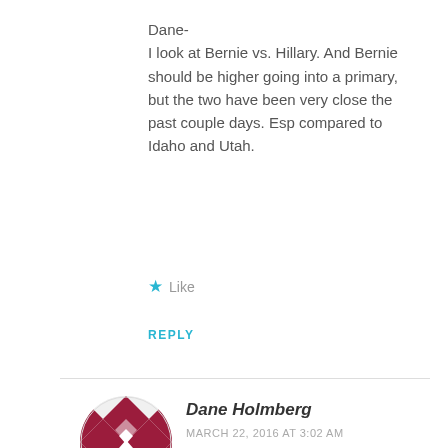Dane-
I look at Bernie vs. Hillary. And Bernie should be higher going into a primary, but the two have been very close the past couple days. Esp compared to Idaho and Utah.
★ Like
REPLY
Dane Holmberg
MARCH 22, 2016 AT 3:02 AM
But you can't look at just the past